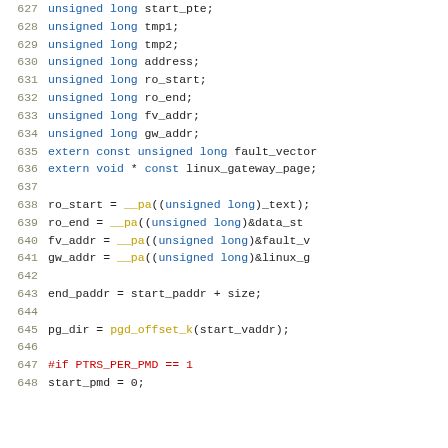Source code listing lines 627-648, C kernel code with variable declarations and assignments including unsigned long variables, extern declarations, and preprocessor directive.